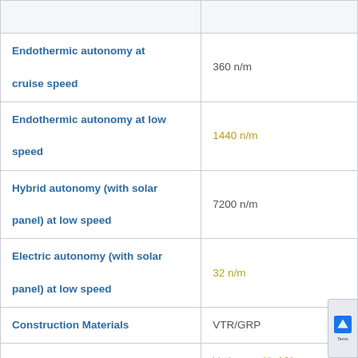| Property | Value |
| --- | --- |
| Endothermic autonomy at cruise speed | 360 n/m |
| Endothermic autonomy at low speed | 1440 n/m |
| Hybrid autonomy (with solar panel) at low speed | 7200 n/m |
| Electric autonomy (with solar panel) at low speed | 32 n/m |
| Construction Materials | VTR/GRP |
| Hull | V-shape with 13° deadrise at transom |